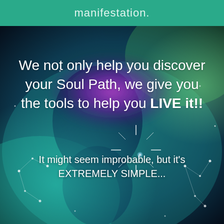manifestation.
[Figure (illustration): Cosmic/spiritual background image with swirling teal, blue, purple nebula colors and a silhouette of a human head with starlight and constellation-like glowing points of light]
We not only help you discover your Soul Path, we give you the tools to help you LIVE it!!
It might seem improbable, but it's EXTREMELY SIMPLE...